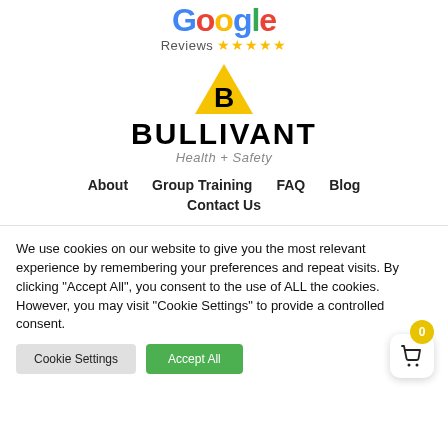[Figure (logo): Google Reviews logo with 5 gold stars]
[Figure (logo): Bullivant Health + Safety logo with yellow triangle and bold B]
About   Group Training   FAQ   Blog   Contact Us
We use cookies on our website to give you the most relevant experience by remembering your preferences and repeat visits. By clicking "Accept All", you consent to the use of ALL the cookies. However, you may visit "Cookie Settings" to provide a controlled consent.
Cookie Settings   Accept All